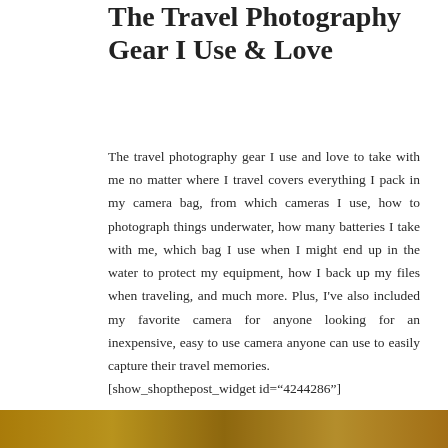The Travel Photography Gear I Use & Love
The travel photography gear I use and love to take with me no matter where I travel covers everything I pack in my camera bag, from which cameras I use, how to photograph things underwater, how many batteries I take with me, which bag I use when I might end up in the water to protect my equipment, how I back up my files when traveling, and much more. Plus, I've also included my favorite camera for anyone looking for an inexpensive, easy to use camera anyone can use to easily capture their travel memories.
[show_shopthepost_widget id="4244286"]
[Figure (photo): A golden/brown photo strip at the bottom of the page, partially visible travel photography image]